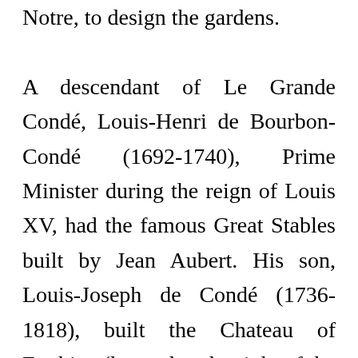Notre, to design the gardens.

A descendant of Le Grande Condé, Louis-Henri de Bourbon-Condé (1692-1740), Prime Minister during the reign of Louis XV, had the famous Great Stables built by Jean Aubert. His son, Louis-Joseph de Condé (1736-1818), built the Chateau of Enghien (located to the right of the Gate of Honour) built by Jean François Leroy from 1769 to 1772. In 1774, he had the Anglo-Chinese garden and the nearby Hamlet, a group of five rustic houses, designed. It is this concept that